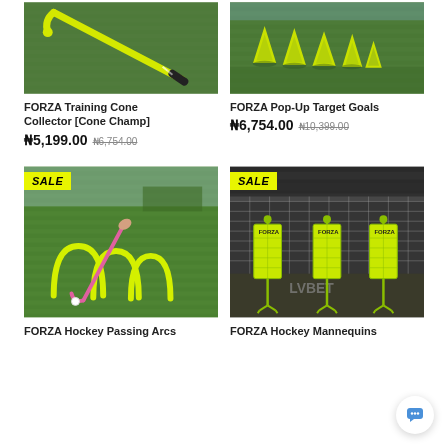[Figure (photo): FORZA Training Cone Collector product photo on green artificial turf, showing a yellow hockey-style stick]
[Figure (photo): FORZA Pop-Up Target Goals product photo showing multiple yellow triangular pop-up goals on a green field]
FORZA Training Cone Collector [Cone Champ]
₦5,199.00 ₦6,754.00
FORZA Pop-Up Target Goals
₦6,754.00 ₦10,399.00
[Figure (photo): FORZA Hockey Passing Arcs product photo showing neon yellow arcs on a green field with a person using a pink hockey stick]
[Figure (photo): FORZA Hockey Mannequins product photo showing three yellow mannequin figures in front of a goal net at a stadium]
FORZA Hockey Passing Arcs
FORZA Hockey Mannequins